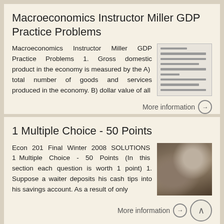Macroeconomics Instructor Miller GDP Practice Problems
Macroeconomics Instructor Miller GDP Practice Problems 1. Gross domestic product in the economy is measured by the A) total number of goods and services produced in the economy. B) dollar value of all
More information →
1 Multiple Choice - 50 Points
Econ 201 Final Winter 2008 SOLUTIONS 1 Multiple Choice - 50 Points (In this section each question is worth 1 point) 1. Suppose a waiter deposits his cash tips into his savings account. As a result of only
More information →